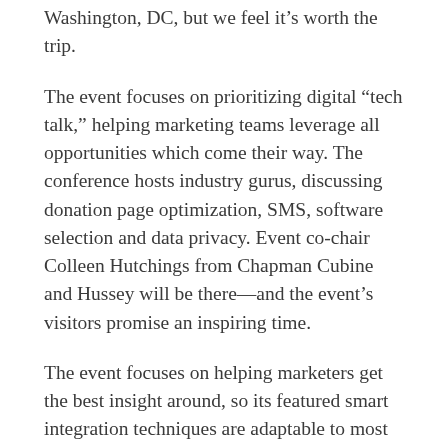Washington, DC, but we feel it's worth the trip.
The event focuses on prioritizing digital “tech talk,” helping marketing teams leverage all opportunities which come their way. The conference hosts industry gurus, discussing donation page optimization, SMS, software selection and data privacy. Event co-chair Colleen Hutchings from Chapman Cubine and Hussey will be there—and the event’s visitors promise an inspiring time.
The event focuses on helping marketers get the best insight around, so its featured smart integration techniques are adaptable to most online strategies. By hanging out with the industry’s leading experts, you’ll get immediate access to today’s leading nonprofit